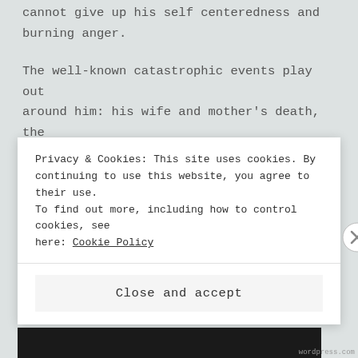cannot give up his self centeredness and burning anger.
The well-known catastrophic events play out around him: his wife and mother’s death, the people’s response, his children’s sobs, and his own bitter agony as he gouges out his eyes with broach pins (a blindness fitting, he seems to think, of his previous metaphorical blindness). After performing this act he grieves as the chorus looks on, saying
Privacy & Cookies: This site uses cookies. By continuing to use this website, you agree to their use. To find out more, including how to control cookies, see here: Cookie Policy
Close and accept